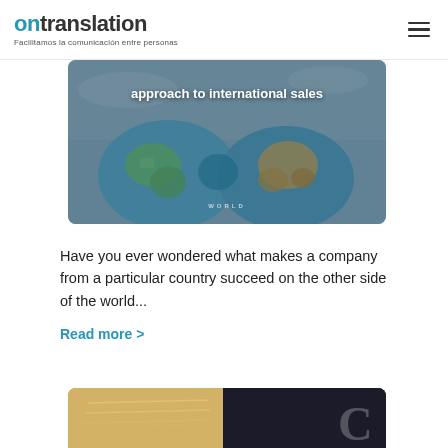on translation — Facilitamos la comunicación entre personas
[Figure (photo): Hands painted as a world map globe cupped together, with text overlay 'approach to international sales']
Have you ever wondered what makes a company from a particular country succeed on the other side of the world...
Read more >
[Figure (photo): Close-up photo of an open book with warm golden tones, partially visible at bottom of page]